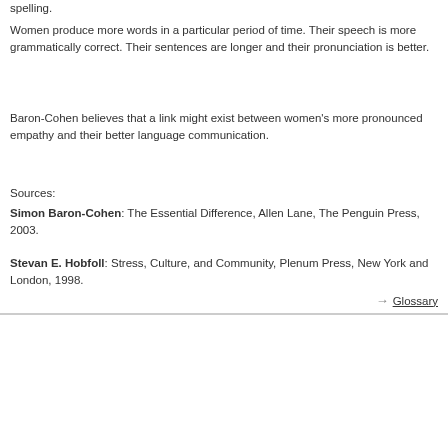spelling.
Women produce more words in a particular period of time. Their speech is more grammatically correct. Their sentences are longer and their pronunciation is better.
Baron-Cohen believes that a link might exist between women's more pronounced empathy and their better language communication.
Sources:
Simon Baron-Cohen: The Essential Difference, Allen Lane, The Penguin Press, 2003.
Stevan E. Hobfoll: Stress, Culture, and Community, Plenum Press, New York and London, 1998.
→ Glossary